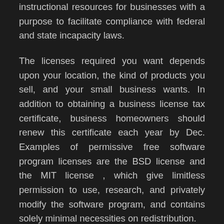instructional resources for businesses with a purpose to facilitate compliance with federal and state incapacity laws.
The licenses required you want depends upon your location, the kind of products you sell, and your small business wants. In addition to obtaining a business license tax certificate, business homeowners should renew this certificate each year by Dec. Examples of permissive free software program licenses are the BSD license and the MIT license , which give limitless permission to use, research, and privately modify the software program, and contains solely minimal necessities on redistribution.
Many states require certain companies, similar to restaurants and institutions which serve alcohol, to obtain particular licenses; in many circumstances these licenses serve to show that the business in